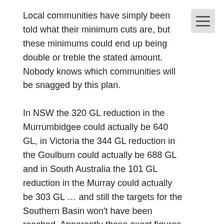Local communities have simply been told what their minimum cuts are, but these minimums could end up being double or treble the stated amount. Nobody knows which communities will be snagged by this plan.
In NSW the 320 GL reduction in the Murrumbidgee could actually be 640 GL, in Victoria the 344 GL reduction in the Goulburn could actually be 688 GL and in South Australia the 101 GL reduction in the Murray could actually be 303 GL … and still the targets for the Southern Basin won't have been reached. Apparently these exact figures won't be known until 2019.
Meanwhile, development of any details for an Environmental Watering Plan has been handballed to State